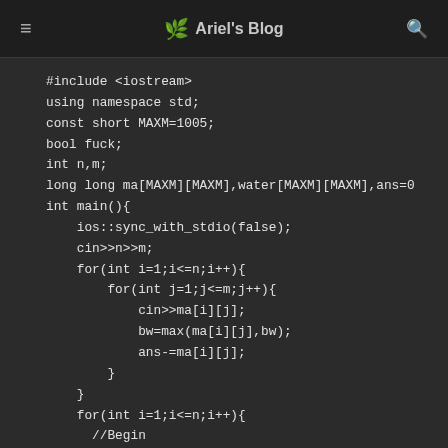Ariel's Blog
[Figure (screenshot): Code editor screenshot showing C++ source code with dark theme]
#include <iostream>
using namespace std;
const short MAXM=1005;
bool fuck;
int n,m;
long long ma[MAXM][MAXM],water[MAXM][MAXM],ans=0
int main(){
    ios::sync_with_stdio(false);
    cin>>n>>m;
    for(int i=1;i<=n;i++){
        for(int j=1;j<=m;j++){
            cin>>ma[i][j];
            bw=max(ma[i][j],bw);
            ans-=ma[i][j];
        }
    }
    for(int i=1;i<=n;i++){
      //Begin
      for(int j=1;j<=m;j++){
          water[i][j]=bw;
      }
    }